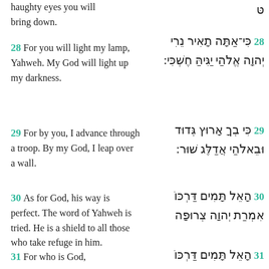haughty eyes you will bring down.
28 For you will light my lamp, Yahweh. My God will light up my darkness.
29 For by you, I advance through a troop. By my God, I leap over a wall.
30 As for God, his way is perfect. The word of Yahweh is tried. He is a shield to all those who take refuge in him.
31 For who is God,